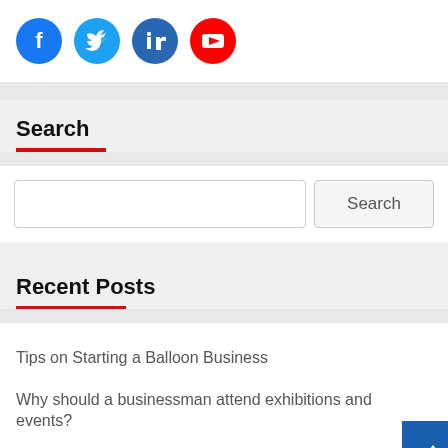[Figure (infographic): Social media icons: Facebook (blue circle), Twitter (light blue circle), LinkedIn (dark blue circle), YouTube (red circle)]
Search
[Figure (other): Search widget with text input box and Search button]
Recent Posts
Tips on Starting a Balloon Business
Why should a businessman attend exhibitions and events?
Top reasons why you should form an offshore company